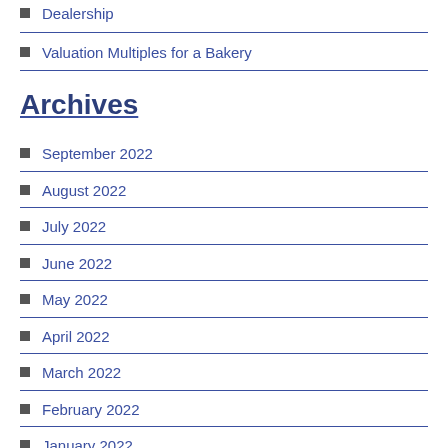Dealership
Valuation Multiples for a Bakery
Archives
September 2022
August 2022
July 2022
June 2022
May 2022
April 2022
March 2022
February 2022
January 2022